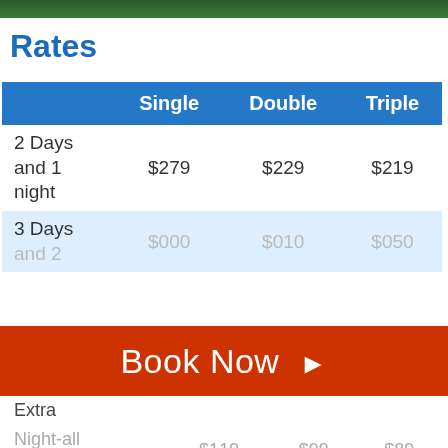[Figure (photo): Green foliage/nature photo strip at top of page]
Rates
|  | Single | Double | Triple |
| --- | --- | --- | --- |
| 2 Days and 1 night | $279 | $229 | $219 |
| 3 Days and 2 nights (partial) | $000 | $010 | $050 |
| Extra Night-all inclusive | $119 | $99 | $89 |